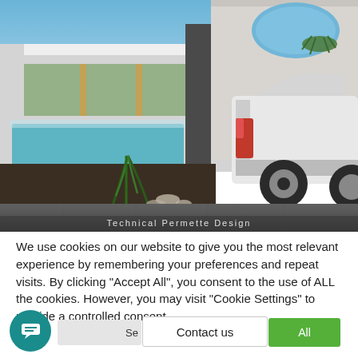[Figure (photo): Exterior photo of a modern house with pool, dark driveway paving, tropical plants, a concrete pillar, and a white hatchback car parked under a covered area with a circular skylight. Partially visible text overlay at the bottom reads 'Technical Permette Design' or similar.]
We use cookies on our website to give you the most relevant experience by remembering your preferences and repeat visits. By clicking "Accept All", you consent to the use of ALL the cookies. However, you may visit "Cookie Settings" to provide a controlled consent.
Contact us
All